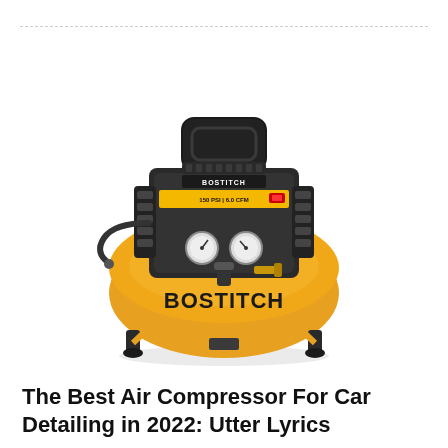[Figure (photo): BOSTITCH yellow pancake air compressor with black motor housing, dual pressure gauges, carry handle, and rubber feet]
The Best Air Compressor For Car Detailing in 2022: Utter Lyrics